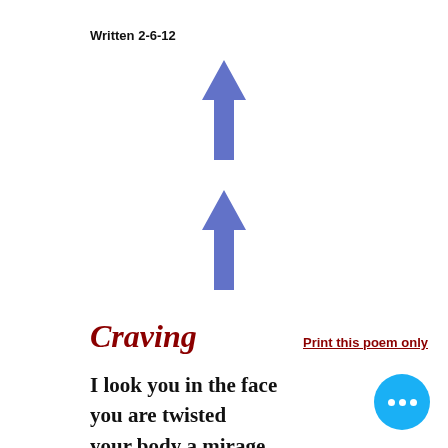Written 2-6-12
[Figure (illustration): Two blue upward-pointing arrows centered on the page, one above the other]
Craving
Print this poem only
I look you in the face
you are twisted
your body a mirage
you hide from me
in the fog of the past
coward